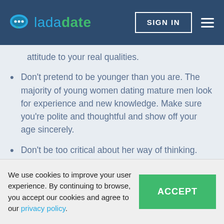ladadate | SIGN IN
attitude to your real qualities.
Don't pretend to be younger than you are. The majority of young women dating mature men look for experience and new knowledge. Make sure you're polite and thoughtful and show off your age sincerely.
Don't be too critical about her way of thinking. Adult men have a tendency not to respect the opinion of the younger generation. Accept the fact that your opinion does not make you unique or ingenious. The intelligence of a person lies in the ability to accept
We use cookies to improve your user experience. By continuing to browse, you accept our cookies and agree to our privacy policy.